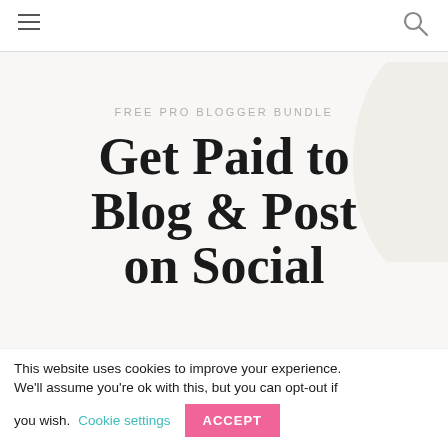≡   🔍
FREE PRO BLOGGER BUNDLE
Get Paid to Blog & Post on Social
This website uses cookies to improve your experience. We'll assume you're ok with this, but you can opt-out if you wish. Cookie settings ACCEPT